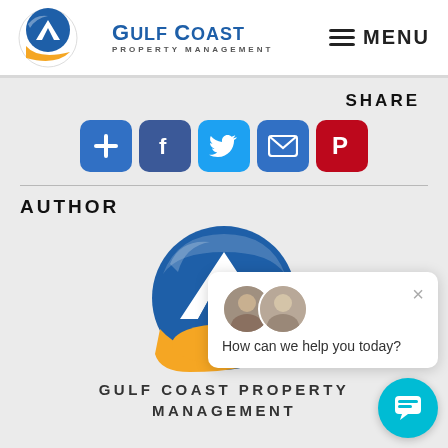Gulf Coast Property Management — MENU
SHARE
[Figure (screenshot): Social share buttons row: Add (+), Facebook, Twitter, Email, Pinterest]
AUTHOR
[Figure (logo): Gulf Coast Property Management circular logo with blue mountain and orange swoosh]
[Figure (screenshot): Live chat popup with two agent avatars and message 'How can we help you today?' with X close button]
GULF COAST PROPERTY MANAGEMENT